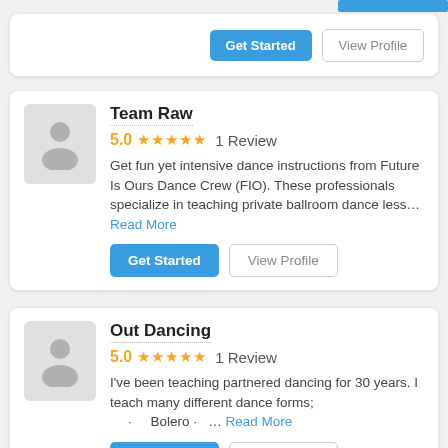[Figure (screenshot): Partial top card with Get Started and View Profile buttons]
Team Raw
5.0 ★★★★★ 1 Review
Get fun yet intensive dance instructions from Future Is Ours Dance Crew (FIO). These professionals specialize in teaching private ballroom dance less... Read More
Out Dancing
5.0 ★★★★★ 1 Review
I've been teaching partnered dancing for 30 years. I teach many different dance forms; · Bolero · ... Read More